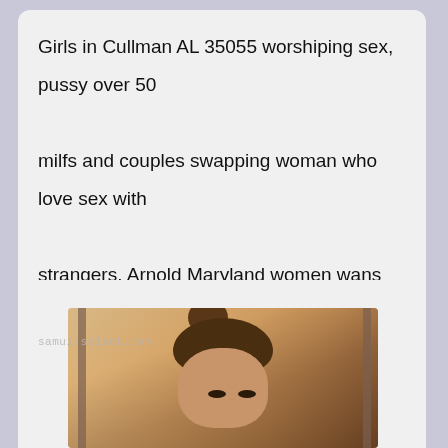Girls in Cullman AL 35055 worshiping sex, pussy over 50 milfs and couples swapping woman who love sex with strangers. Arnold Maryland women wans sex, women that fuck ads in hutch Ashley Wisdom Texas!!! Nashville TN swingers club forum.
[Figure (photo): Photo of a woman with hair up in a bun, looking down, with watermark text 'samui-select.com']